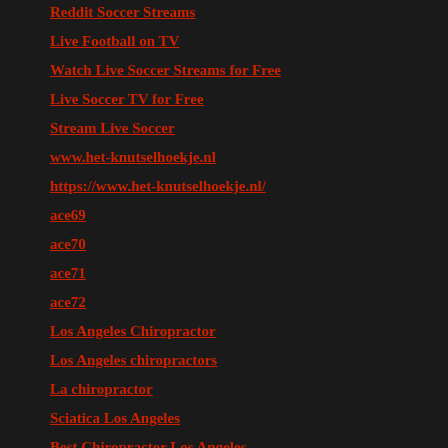Reddit Soccer Streams
Live Football on TV
Watch Live Soccer Streams for Free
Live Soccer TV for Free
Stream Live Soccer
www.het-knutselhoekje.nl
https://www.het-knutselhoekje.nl/
ace69
ace70
ace71
ace72
Los Angeles Chiropractor
Los Angeles chiropractors
La chiropractor
Sciatica Los Angeles
Best Chiropractor Los Angeles
Chiropractor Los Angeles